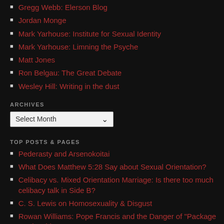Gregg Webb: Elerson Blog
Jordan Monge
Mark Yarhouse: Institute for Sexual Identity
Mark Yarhouse: Limning the Psyche
Matt Jones
Ron Belgau: The Great Debate
Wesley Hill: Writing in the dust
ARCHIVES
Select Month
TOP POSTS & PAGES
Pederasty and Arsenokoitai
What Does Matthew 5:28 Say about Sexual Orientation?
Celibacy vs. Mixed Orientation Marriage: Is there too much celibacy talk in Side B?
C. S. Lewis on Homosexuality & Disgust
Rowan Williams: Pope Francis and the Danger of "Package Deal" Ethics
Rosaria Butterfield, Sam Allberry, and Christopher Yuan on Temptation and Sin
What Is "Gay"?
CATEGORIES
Bible